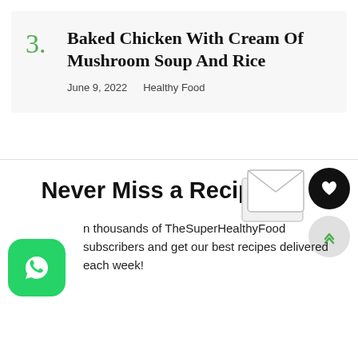3. Baked Chicken With Cream Of Mushroom Soup And Rice
June 9, 2022  Healthy Food
Never Miss a Recipe!
thousands of TheSuperHealthyFood subscribers and get our best recipes delivered each week!
[Figure (illustration): WhatsApp icon button (green rounded square with white phone handset icon)]
[Figure (illustration): Envelope/newsletter illustration in white/grey]
[Figure (illustration): Black circular button with white heart icon]
[Figure (illustration): Grey circular scroll-up button with green chevrons]